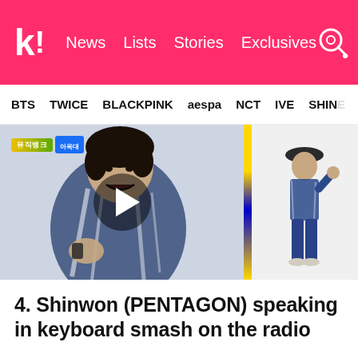k! News  Lists  Stories  Exclusives
BTS  TWICE  BLACKPINK  aespa  NCT  IVE  SHINE
[Figure (photo): Two-panel image: left panel shows a person in a blue patterned jacket with mouth open and hand pointing, with a TV show logo overlay and a play button. Right panel shows a full-body shot of a person in a blue outfit and hat. A vertical stripe separates the panels.]
4. Shinwon (PENTAGON) speaking in keyboard smash on the radio
Gen Z knows that nothing captures the